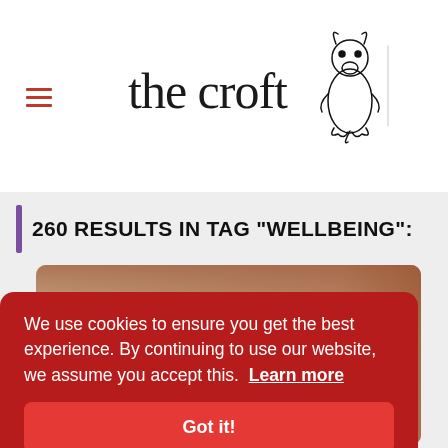[Figure (logo): The Croft logo with stylized text 'the croft' in serif font and an ink drawing of a sitting dog/hound to the right]
260 RESULTS IN TAG "WELLBEING":
[Figure (photo): Close-up photo of a woman's face with glasses and reddish hair, partially visible behind cookie consent overlay]
We use cookies to ensure you get the best experience. By continuing to use our website, we assume you accept this. Learn more
Got it!